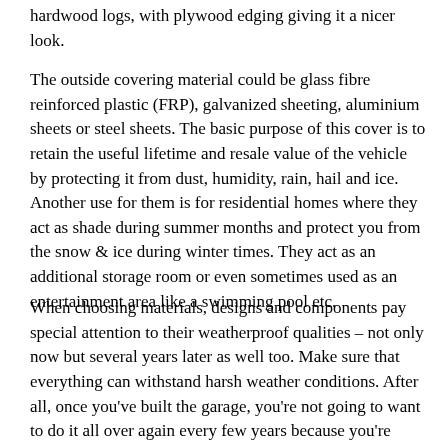hardwood logs, with plywood edging giving it a nicer look.
The outside covering material could be glass fibre reinforced plastic (FRP), galvanized sheeting, aluminium sheets or steel sheets. The basic purpose of this cover is to retain the useful lifetime and resale value of the vehicle by protecting it from dust, humidity, rain, hail and ice. Another use for them is for residential homes where they act as shade during summer months and protect you from the snow & ice during winter times. They act as an additional storage room or even sometimes used as an entertainment area like a swimming pool etc.
When choosing materials, designs and components pay special attention to their weatherproof qualities – not only now but several years later as well too. Make sure that everything can withstand harsh weather conditions. After all, once you've built the garage, you're not going to want to do it all over again every few years because you're constantly having to replace stuff.